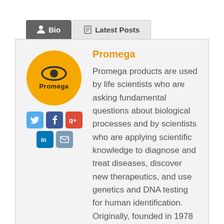Bio | Latest Posts
[Figure (logo): Promega circular logo with orange background, black oval shape and Promega text below]
Promega
Promega products are used by life scientists who are asking fundamental questions about biological processes and by scientists who are applying scientific knowledge to diagnose and treat diseases, discover new therapeutics, and use genetics and DNA testing for human identification. Originally, founded in 1978 in Madison, Wisconsin, USA, Promega has branches in 16 countries and more than 50 global…